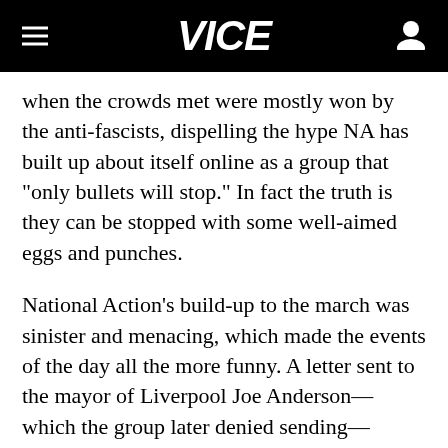VICE
when the crowds met were mostly won by the anti-fascists, dispelling the hype NA has built up about itself online as a group that "only bullets will stop." In fact the truth is they can be stopped with some well-aimed eggs and punches.
National Action's build-up to the march was sinister and menacing, which made the events of the day all the more funny. A letter sent to the mayor of Liverpool Joe Anderson—which the group later denied sending—threatened that the city would "go up in flames" if he